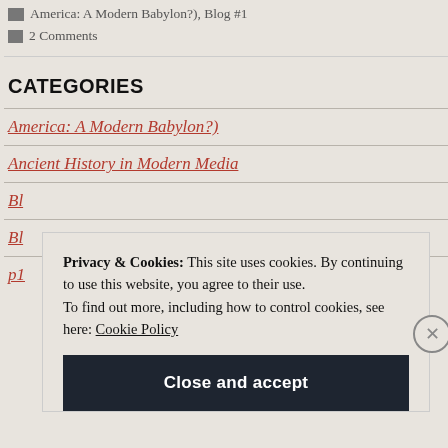America: A Modern Babylon?), Blog #1
2 Comments
CATEGORIES
America: A Modern Babylon?)
Ancient History in Modern Media
Bl…
Bl…
p1
Privacy & Cookies: This site uses cookies. By continuing to use this website, you agree to their use. To find out more, including how to control cookies, see here: Cookie Policy
Close and accept